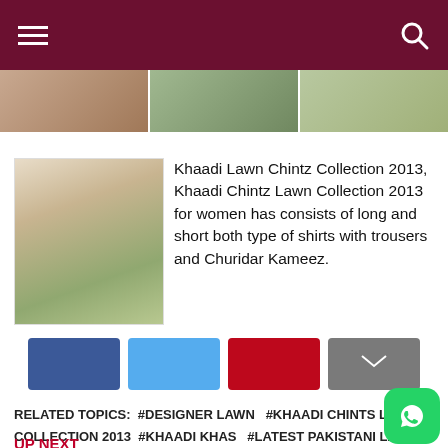Navigation header with hamburger menu and search icon
[Figure (photo): Three thumbnail images in a horizontal strip]
[Figure (photo): Fashion photo of woman in Khaadi lawn outfit]
Khaadi Lawn Chintz Collection 2013, Khaadi Chintz Lawn Collection 2013 for women has consists of long and short both type of shirts with trousers and Churidar Kameez.
[Figure (infographic): Social share buttons: Facebook, Twitter, Pinterest, Email]
RELATED TOPICS: #DESIGNER LAWN #KHAADI CHINTS LAWN COLLECTION 2013 #KHAADI KHAS #LATEST PAKISTANI LAWN COLLECTION 2017 #PAKISTANI CLOTHING
UP NEXT